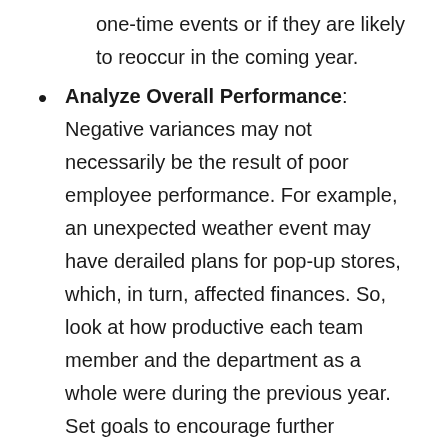one-time events or if they are likely to reoccur in the coming year.
Analyze Overall Performance: Negative variances may not necessarily be the result of poor employee performance. For example, an unexpected weather event may have derailed plans for pop-up stores, which, in turn, affected finances. So, look at how productive each team member and the department as a whole were during the previous year. Set goals to encourage further productivity from your department in the upcoming year, and inform all team members of these